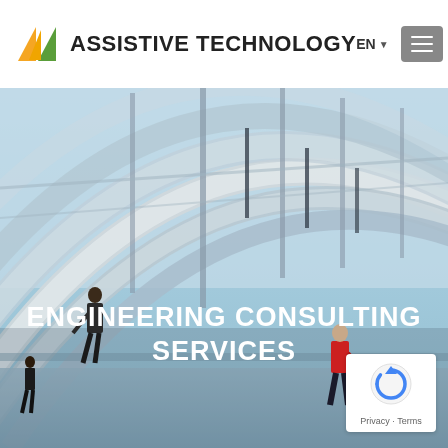ASSISTIVE TECHNOLOGY | EN | Menu
[Figure (photo): Interior architectural photo of a modern glass building atrium with curved steel railings and people walking on walkways. Text overlay reads 'ENGINEERING CONSULTING SERVICES'.]
ENGINEERING CONSULTING SERVICES
[Figure (logo): reCAPTCHA badge with Privacy and Terms links]